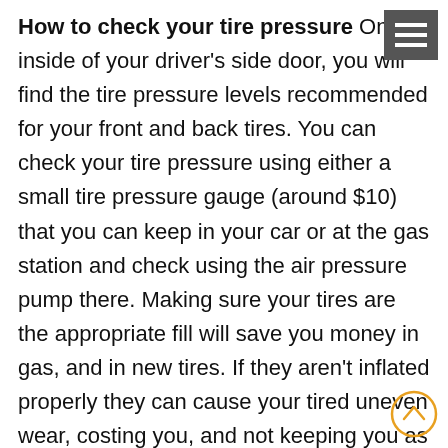How to check your tire pressure On the inside of your driver's side door, you will find the tire pressure levels recommended for your front and back tires. You can check your tire pressure using either a small tire pressure gauge (around $10) that you can keep in your car or at the gas station and check using the air pressure pump there. Making sure your tires are the appropriate fill will save you money in gas, and in new tires. If they aren't inflated properly they can cause your tired uneven wear, costing you, and not keeping you as safe on the road. How to put air into your tires. If you notice that your tires are low on air, you need to fill them ASAP. Make sure you've read the first tip above about how to check your tire pressure and adhere